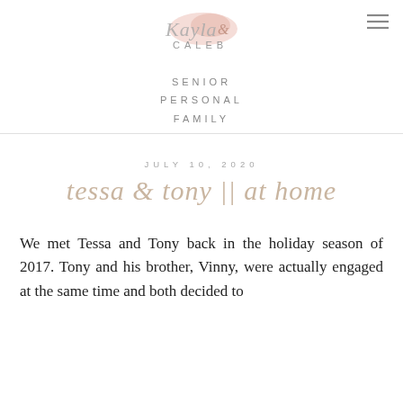[Figure (logo): Kayla & Caleb photography logo with script and print text and pink watercolor accent]
SENIOR
PERSONAL
FAMILY
JULY 10, 2020
tessa & tony || at home
We met Tessa and Tony back in the holiday season of 2017. Tony and his brother, Vinny, were actually engaged at the same time and both decided to